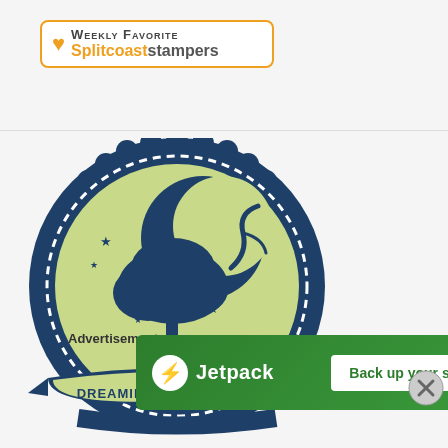[Figure (logo): Weekly Favorite Splitcoaststampers badge — orange heart icon, text 'Weekly Favorite' in small-caps gray, 'Splitcoaststampers' in orange, inside an orange-bordered rounded rectangle]
[Figure (logo): Dreaming Tree Affiliate circular badge/seal — dark navy blue scalloped outer ring, light green inner circle with a stylized oak tree and crescent moon, stars, and a ribbon banner reading 'DREAMING TREE AFFILIATE']
Advertisements
[Figure (other): Jetpack advertisement banner — green background, Jetpack logo (white circle with lightning bolt) and 'Jetpack' text on left, white button reading 'Back up your site' on right]